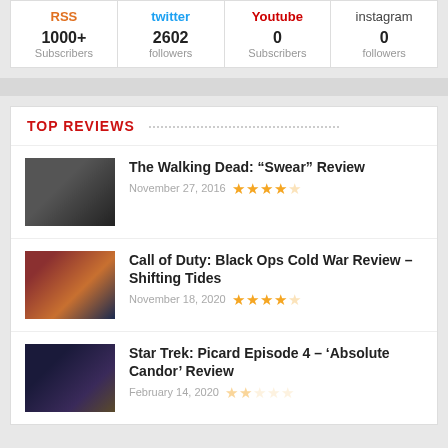| RSS | twitter | Youtube | instagram |
| --- | --- | --- | --- |
| 1000+ Subscribers | 2602 followers | 0 Subscribers | 0 followers |
TOP REVIEWS
The Walking Dead: “Swear” Review — November 27, 2016 — 4/5 stars
Call of Duty: Black Ops Cold War Review – Shifting Tides — November 18, 2020 — 4/5 stars
Star Trek: Picard Episode 4 – ‘Absolute Candor’ Review — February 14, 2020